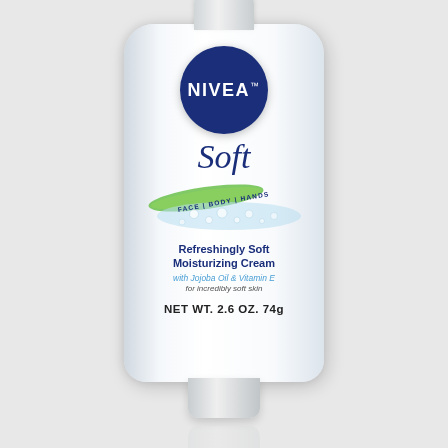[Figure (photo): NIVEA Soft Refreshingly Soft Moisturizing Cream with Jojoba Oil & Vitamin E tube product photo. White tube with navy blue NIVEA logo circle, 'Soft' in italic blue text, green swoosh graphic, water droplets, text reading 'FACE | BODY | HANDS', product description, and NET WT. 2.6 OZ. 74g.]